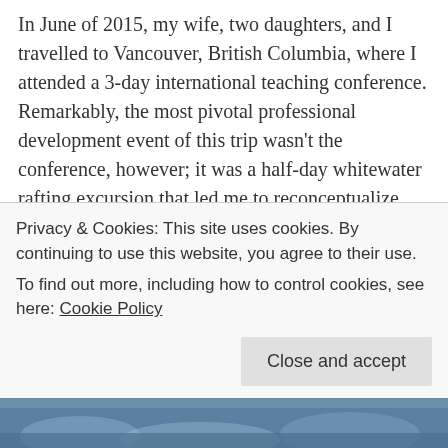In June of 2015, my wife, two daughters, and I travelled to Vancouver, British Columbia, where I attended a 3-day international teaching conference. Remarkably, the most pivotal professional development event of this trip wasn't the conference, however; it was a half-day whitewater rafting excursion that led me to reconceptualize much of my work with students.
On the day of our rafting adventure, we rented a car and drove about an hour north via the Sea-to-Sky Highway to the mountain community of Squamish. We registered with the outfitter and then met Shane – our witty, bearded, abundantly enthusiastic, twenty-something guide. After a
Privacy & Cookies: This site uses cookies. By continuing to use this website, you agree to their use.
To find out more, including how to control cookies, see here: Cookie Policy
[Figure (photo): Partial view of a photo showing people whitewater rafting, only the bottom portion visible at the bottom of the page.]